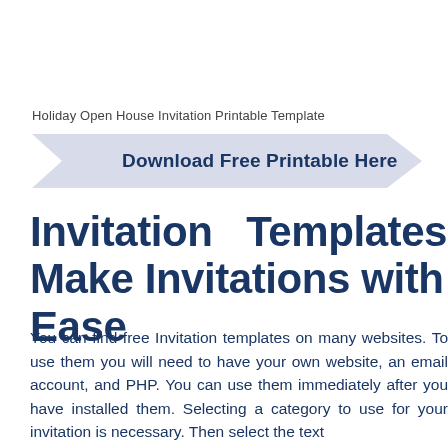Holiday Open House Invitation Printable Template
[Figure (other): Arrow-shaped button graphic with text 'Download Free Printable Here']
Invitation Templates – Make Invitations with Ease
You can find free Invitation templates on many websites. To use them you will need to have your own website, an email account, and PHP. You can use them immediately after you have installed them. Selecting a category to use for your invitation is necessary. Then select the text